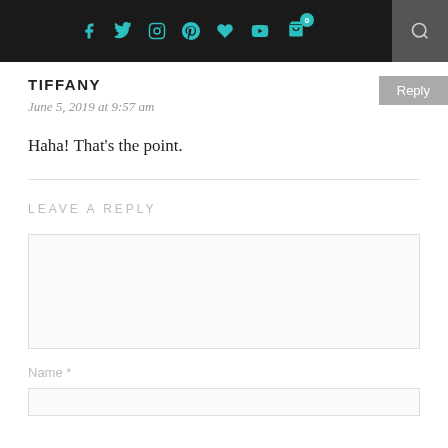Social media icons bar with Facebook, Twitter, Instagram, Pinterest, Heart, YouTube, Cart (0), Search
TIFFANY
Reply
June 5, 2019 at 9:57 am
Haha! That's the point.
LEAVE A REPLY
Name *